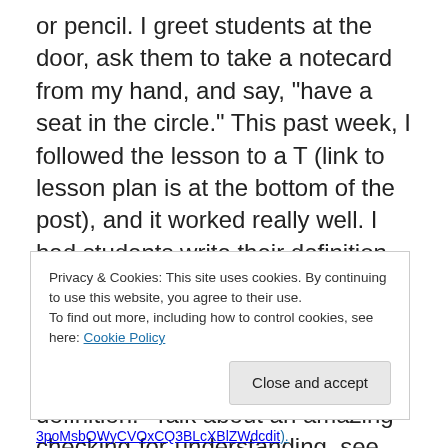or pencil. I greet students at the door, ask them to take a notecard from my hand, and say, "have a seat in the circle." This past week, I followed the lesson to a T (link to lesson plan is at the bottom of the post), and it worked really well. I had students write their definition of success. Then students circle the room, and share out their definitions. Then, I ask students, "Please circle just the verbs in your definition." Talk about an amazing checking-for-understanding, see how many high school students know what a verb is without providing a prompt. After students share out their verbs, I ask them to write their
Privacy & Cookies: This site uses cookies. By continuing to use this website, you agree to their use.
To find out more, including how to control cookies, see here: Cookie Policy
Close and accept
3poMsbOWyCVOxCQ3BLcXBlZWdcdit).